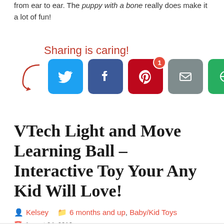from ear to ear. The puppy with a bone really does make it a lot of fun!
[Figure (infographic): Sharing is caring! social share buttons: Twitter (blue), Facebook (dark blue), Pinterest (red with badge '1'), Email (gray), More (green). Arrow pointing to buttons with cursive text 'Sharing is caring!']
VTech Light and Move Learning Ball – Interactive Toy Your Any Kid Will Love!
Kelsey   6 months and up, Baby/Kid Toys
August 24, 2016   6 month toys, learning toys, VTech Light and Move Learning Ball, vtech move and learn ball   0 Comment